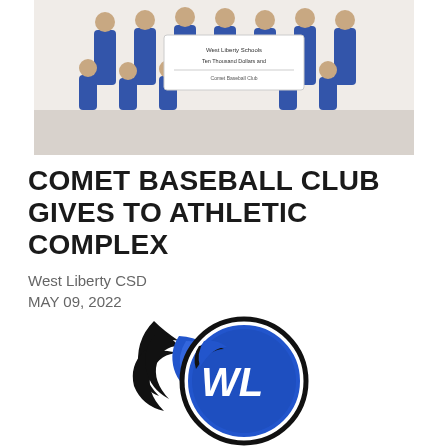[Figure (photo): Group photo of youth baseball players in blue uniforms holding a large check from Comet Baseball Club to West Liberty Schools]
COMET BASEBALL CLUB GIVES TO ATHLETIC COMPLEX
West Liberty CSD
MAY 09, 2022
[Figure (logo): West Liberty Comets logo — a comet/flame shape in black with a blue circle containing the letters WL in blue with white outline]